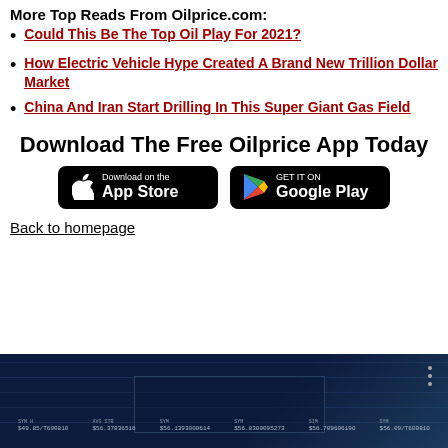More Top Reads From Oilprice.com:
Could This Be The Top Oil Play For 2021?
How Electric Vehicle Hype Created A Brand New Trillion Dollar Market
China And Iran Start Drilling In This Super Giant Gas Field
Download The Free Oilprice App Today
[Figure (other): App Store download button (black rounded rectangle with Apple logo and 'Download on the App Store' text)]
[Figure (other): Google Play download button (black rounded rectangle with Google Play logo and 'GET IT ON Google Play' text)]
Back to homepage
[Figure (screenshot): Dark blue financial dashboard/trading screen with grid lines, data columns, and numerical values at the bottom]